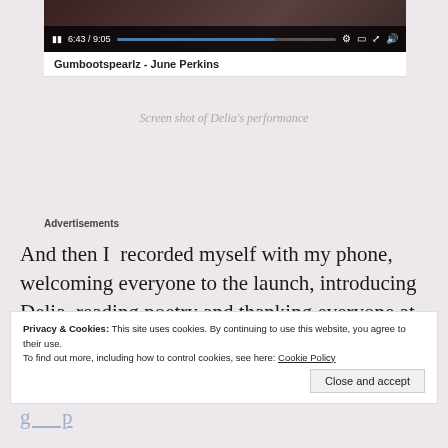[Figure (screenshot): Video player screenshot showing a paused video at 6:43 / 9:05 with progress bar. Below the player is the label 'Gumbootspearlz - June Perkins']
Screen shot of Delia's performance
Advertisements
And then I  recorded myself with my phone, welcoming everyone to the launch, introducing Delia, reading poetry and thanking everyone at the end.
Privacy & Cookies: This site uses cookies. By continuing to use this website, you agree to their use.
To find out more, including how to control cookies, see here: Cookie Policy
Close and accept